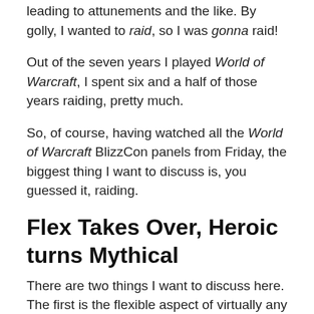leading to attunements and the like. By golly, I wanted to raid, so I was gonna raid!
Out of the seven years I played World of Warcraft, I spent six and a half of those years raiding, pretty much.
So, of course, having watched all the World of Warcraft BlizzCon panels from Friday, the biggest thing I want to discuss is, you guessed it, raiding.
Flex Takes Over, Heroic turns Mythical
There are two things I want to discuss here. The first is the flexible aspect of virtually any raid team going forward. The second is the new “mythical” raid tier, and…